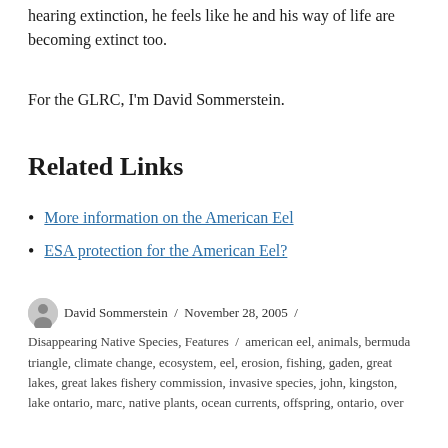hearing extinction, he feels like he and his way of life are becoming extinct too.
For the GLRC, I'm David Sommerstein.
Related Links
More information on the American Eel
ESA protection for the American Eel?
David Sommerstein / November 28, 2005 / Disappearing Native Species, Features / american eel, animals, bermuda triangle, climate change, ecosystem, eel, erosion, fishing, gaden, great lakes, great lakes fishery commission, invasive species, john, kingston, lake ontario, marc, native plants, ocean currents, offspring, ontario, over